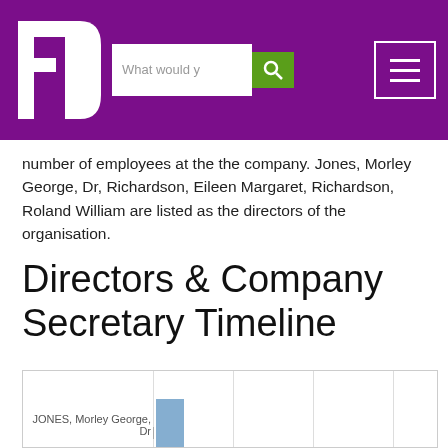[Figure (logo): FD logo — white letters F and D on purple background, with search bar and hamburger menu]
number of employees at the the company. Jones, Morley George, Dr, Richardson, Eileen Margaret, Richardson, Roland William are listed as the directors of the organisation.
Directors & Company Secretary Timeline
[Figure (bar-chart): Horizontal timeline chart showing JONES, Morley George, Dr with a blue bar indicating tenure period]